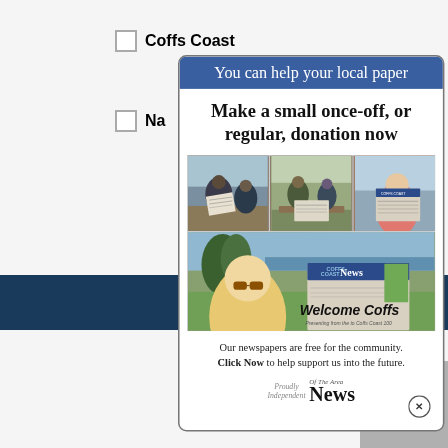Coffs Coast
[Figure (infographic): Modal popup advertisement for 'Of The Area News' local newspaper donation appeal. Blue header reads 'You can help your local paper'. Black text: 'Make a small once-off, or regular, donation now'. Three photo panels showing people reading newspapers at a beach, and a large photo below with a woman holding a newspaper with 'Welcome Coffs' text. Bottom text: 'Our newspapers are free for the community. Click Now to help support us into the future.' Logo: Proudly Independent / Of The Area News]
Our newspapers are free for the community. Click Now to help support us into the future.
Proudly Independent
Of The Area News